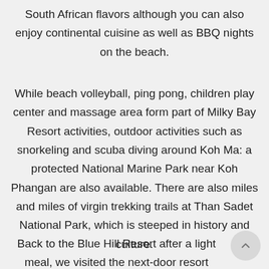South African flavors although you can also enjoy continental cuisine as well as BBQ nights on the beach.
While beach volleyball, ping pong, children play center and massage area form part of Milky Bay Resort activities, outdoor activities such as snorkeling and scuba diving around Koh Ma: a protected National Marine Park near Koh Phangan are also available. There are also miles and miles of virgin trekking trails at Than Sadet National Park, which is steeped in history and culture.
Back to the Blue Hill Resort after a light meal, we visited the next-door resort